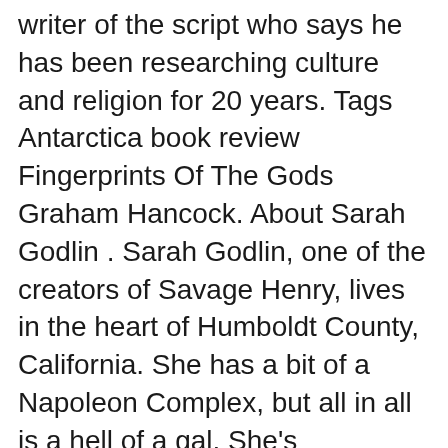writer of the script who says he has been researching culture and religion for 20 years. Tags Antarctica book review Fingerprints Of The Gods Graham Hancock. About Sarah Godlin . Sarah Godlin, one of the creators of Savage Henry, lives in the heart of Humboldt County, California. She has a bit of a Napoleon Complex, but all in all is a hell of a gal. She's responsible for the fold-in's, Catty Mean Girl, the Monthly Confessions, The
Jul 30, 2016B B· Graham Hancock: Fingerprints of the Gods - Full length presentation. Fingerprints of the Gods: The Evidence of Earth's Lost Civilization is a book first published in 1995 by